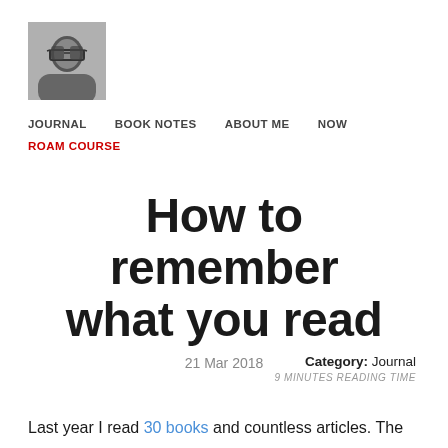[Figure (photo): Black and white avatar photo of a person wearing glasses]
JOURNAL   BOOK NOTES   ABOUT ME   NOW   ROAM COURSE
How to remember what you read
21 Mar 2018
Category: Journal
9 MINUTES READING TIME
Last year I read 30 books and countless articles. The